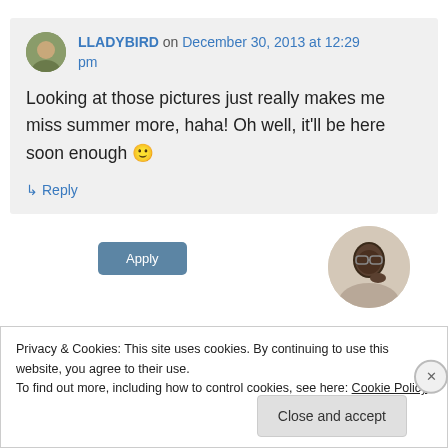LLADYBIRD on December 30, 2013 at 12:29 pm
Looking at those pictures just really makes me miss summer more, haha! Oh well, it'll be here soon enough 🙂
↳ Reply
[Figure (photo): Apply button and a circular avatar photo of a man with glasses and beard thinking]
Privacy & Cookies: This site uses cookies. By continuing to use this website, you agree to their use.
To find out more, including how to control cookies, see here: Cookie Policy
Close and accept